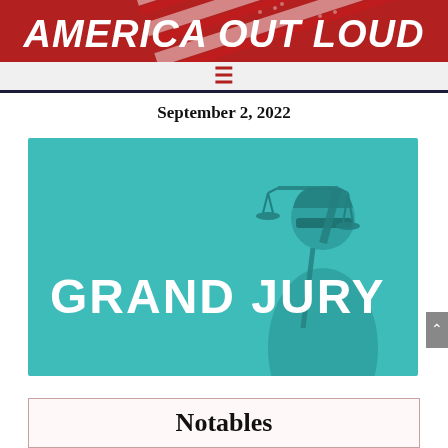AMERICA OUT LOUD
September 2, 2022
[Figure (photo): Lady Justice statue holding scales on a teal/cyan background with bold white text reading GRAND JURY]
Notables